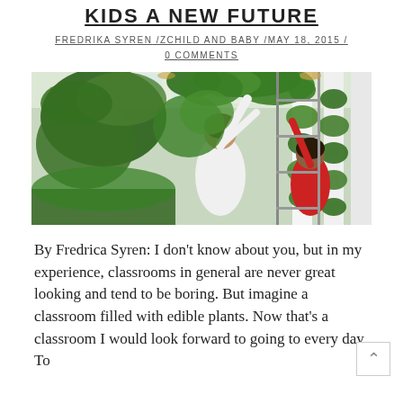KIDS A NEW FUTURE
FREDRIKA SYREN /ZCHILD AND BABY /MAY 18, 2015 / 0 COMMENTS
[Figure (photo): A woman and a child tending to tall vertical hydroponic towers filled with lush green plants in an indoor greenhouse setting.]
By Fredrica Syren: I don't know about you, but in my experience, classrooms in general are never great looking and tend to be boring. But imagine a classroom filled with edible plants. Now that's a classroom I would look forward to going to every day. Tower Garden Bit... he teaches...